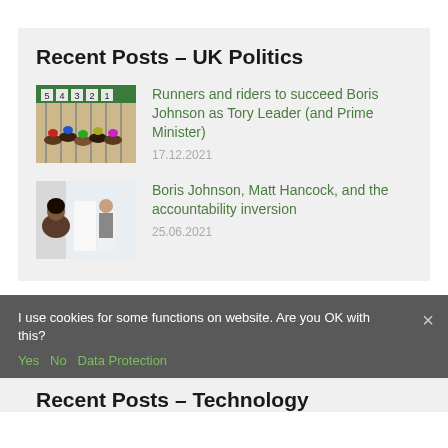Recent Posts – UK Politics
[Figure (photo): Horse racing starting gate with numbered horses lined up]
Runners and riders to succeed Boris Johnson as Tory Leader (and Prime Minister)
17.12.2021
[Figure (photo): People in a meeting or office setting, with a woman in foreground]
Boris Johnson, Matt Hancock, and the accountability inversion
25.06.2021
I use cookies for some functions on website. Are you OK with this?
Yes  No  Data Protection
Recent Posts – Technology